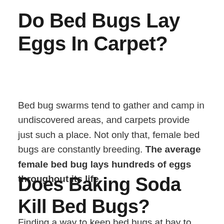Do Bed Bugs Lay Eggs In Carpet?
Bed bug swarms tend to gather and camp in undiscovered areas, and carpets provide just such a place. Not only that, female bed bugs are constantly breeding. The average female bed bug lays hundreds of eggs throughout its life.
Does Baking Soda Kill Bed Bugs?
Finding a way to keep bed bugs at bay to DIY